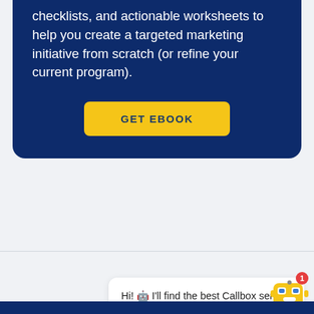checklists, and actionable worksheets to help you create a targeted marketing initiative from scratch (or refine your current program).
[Figure (other): Yellow 'GET EBOOK' call-to-action button on dark navy background]
Hi! 🤖 I'll find the best Callbox service that meets your needs. Where would you like to start?
[Figure (illustration): Robot chatbot icon with notification badge showing 1]